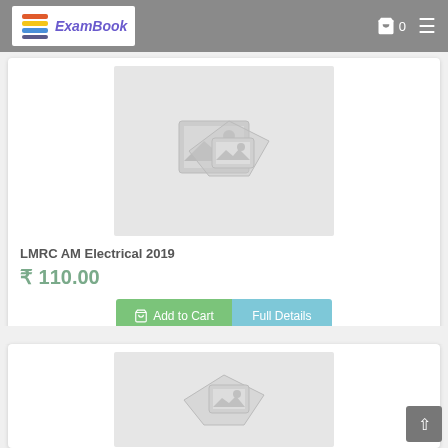ExamBook
[Figure (photo): Product placeholder image for LMRC AM Electrical 2019]
LMRC AM Electrical 2019
₹ 110.00
Add to Cart  Full Details
[Figure (photo): Product placeholder image for second item (partially visible)]